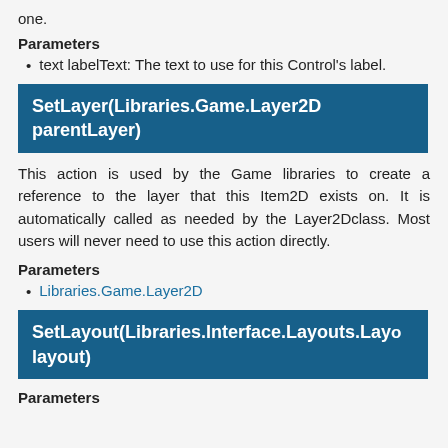one.
Parameters
text labelText: The text to use for this Control's label.
SetLayer(Libraries.Game.Layer2D parentLayer)
This action is used by the Game libraries to create a reference to the layer that this Item2D exists on. It is automatically called as needed by the Layer2Dclass. Most users will never need to use this action directly.
Parameters
Libraries.Game.Layer2D
SetLayout(Libraries.Interface.Layouts.Lay... layout)
Parameters